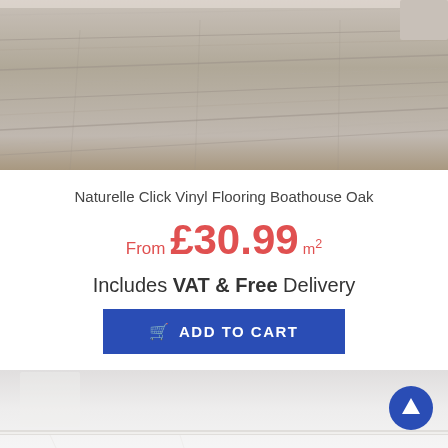[Figure (photo): Top portion of a vinyl flooring product photo showing grey/beige wood-effect planks in a room setting]
Naturelle Click Vinyl Flooring Boathouse Oak
From £30.99 m²
Includes VAT & Free Delivery
ADD TO CART
[Figure (photo): Bottom portion of a second flooring product photo showing a light/white floor in a bright room]